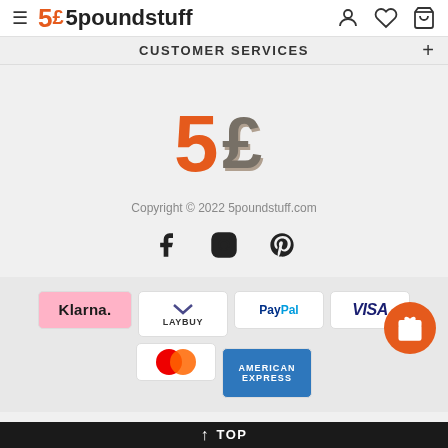5£ 5poundstuff
CUSTOMER SERVICES
[Figure (logo): 5poundstuff logo — large orange '5' and grey '£' symbol]
Copyright © 2022 5poundstuff.com
[Figure (infographic): Social media icons: Facebook, Instagram, Pinterest]
[Figure (infographic): Payment method logos: Klarna, Laybuy, PayPal, Visa, Mastercard, American Express]
↑ TOP